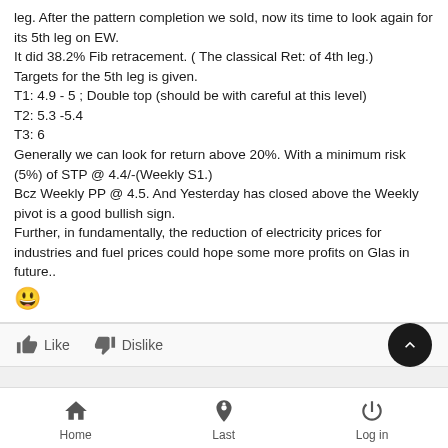leg. After the pattern completion we sold, now its time to look again for its 5th leg on EW.
It did 38.2% Fib retracement. ( The classical Ret: of 4th leg.)
Targets for the 5th leg is given.
T1: 4.9 - 5 ; Double top (should be with careful at this level)
T2: 5.3 -5.4
T3: 6
Generally we can look for return above 20%. With a minimum risk (5%) of STP @ 4.4/-(Weekly S1.)
Bcz Weekly PP @ 4.5. And Yesterday has closed above the Weekly pivot is a good bullish sign.
Further, in fundamentally, the reduction of electricity prices for industries and fuel prices could hope some more profits on Glas in future..
😊
Like   Dislike
Home   Last   Log in